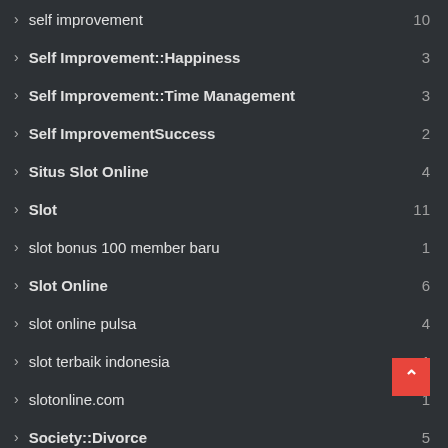self improvement  10
Self Improvement::Happiness  3
Self Improvement::Time Management  3
Self ImprovementSuccess  2
Situs Slot Online  4
Slot  11
slot bonus 100 member baru  1
Slot Online  6
slot online pulsa  4
slot terbaik indonesia  1
slotonline.com  1
Society::Divorce  5
SocietyWeddings  3
sy 388  3